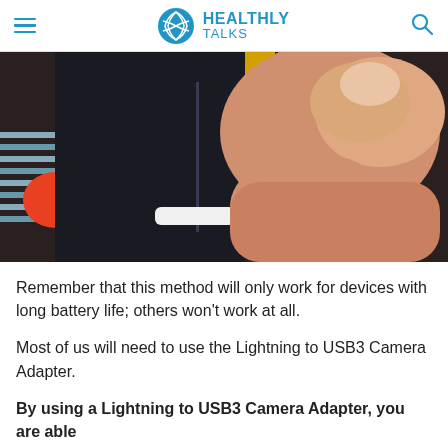HEALTHLY TALKS
[Figure (photo): Close-up photo of a hand holding a white Lightning cable connector being inserted into the bottom port of a black smartphone device]
Remember that this method will only work for devices with long battery life; others won't work at all.
Most of us will need to use the Lightning to USB3 Camera Adapter.
By using a Lightning to USB3 Camera Adapter, you are able